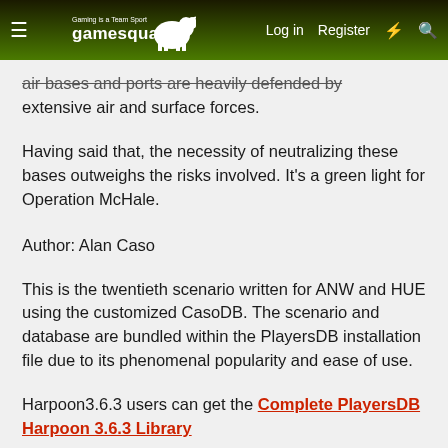gamesquad Log in Register
air bases and ports are heavily defended by extensive air and surface forces.
Having said that, the necessity of neutralizing these bases outweighs the risks involved. It's a green light for Operation McHale.
Author: Alan Caso
This is the twentieth scenario written for ANW and HUE using the customized CasoDB. The scenario and database are bundled within the PlayersDB installation file due to its phenomenal popularity and ease of use.
Harpoon3.6.3 users can get the Complete PlayersDB Harpoon 3.6.3 Library